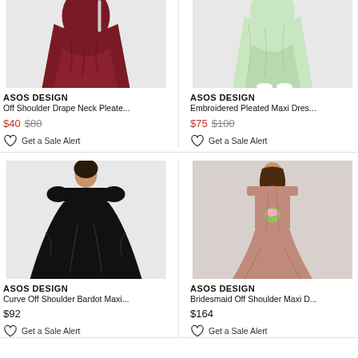[Figure (photo): Partial view of a burgundy/dark red pleated maxi dress on a model, cropped at top]
ASOS DESIGN
Off Shoulder Drape Neck Pleate...
$40 $80
Get a Sale Alert
[Figure (photo): Partial view of a light green embroidered pleated maxi dress on a model, cropped at top]
ASOS DESIGN
Embroidered Pleated Maxi Dres...
$75 $100
Get a Sale Alert
[Figure (photo): Full view of a model wearing a black off-shoulder bardot maxi dress]
ASOS DESIGN
Curve Off Shoulder Bardot Maxi...
$92
Get a Sale Alert
[Figure (photo): Full view of a model wearing a dusty rose bridesmaid off-shoulder maxi dress]
ASOS DESIGN
Bridesmaid Off Shoulder Maxi D...
$164
Get a Sale Alert